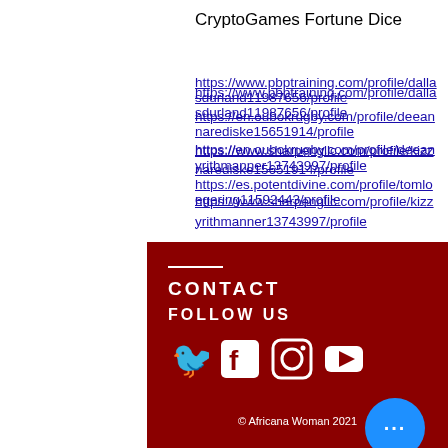CryptoGames Fortune Dice
https://www.pbptraining.com/profile/dallasdurland11987656/profile
https://en.oubokrugby.com/profile/deeannarediske15651914/profile
https://www.sharpengllc.com/profile/kizzyrithmanner13743997/profile
https://es.potentdivine.com/profile/tomloegering11592443/profile
CONTACT
FOLLOW US
[Figure (infographic): Social media icons: Twitter, Facebook, Instagram, YouTube in white on dark red background]
© Africana Woman 2021